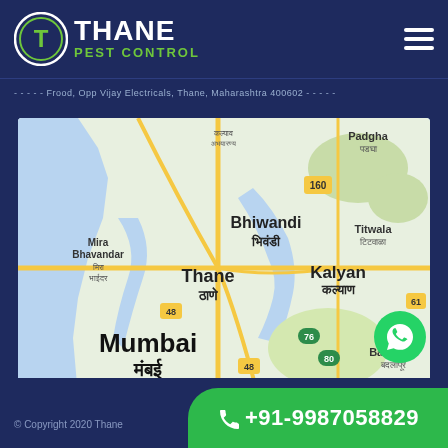[Figure (logo): Thane Pest Control logo with circle T emblem]
Frood, Opp Vijay Electricals, Thane, Maharashtra 400602
[Figure (map): Google Maps view showing Thane, Mumbai, Bhiwandi, Kalyan, Mira Bhavandar, Titwala, Badlapur area with road network]
[Figure (other): WhatsApp contact button (green circle with WhatsApp icon)]
© Copyright 2020 Thane
+91-9987058829